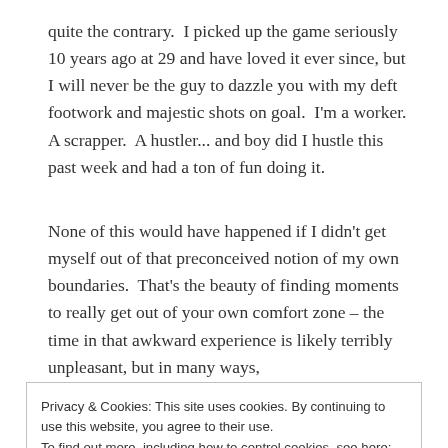quite the contrary.  I picked up the game seriously 10 years ago at 29 and have loved it ever since, but I will never be the guy to dazzle you with my deft footwork and majestic shots on goal.  I'm a worker.  A scrapper.  A hustler... and boy did I hustle this past week and had a ton of fun doing it.
None of this would have happened if I didn't get myself out of that preconceived notion of my own boundaries.  That's the beauty of finding moments to really get out of your own comfort zone – the time in that awkward experience is likely terribly unpleasant, but in many ways,
Privacy & Cookies: This site uses cookies. By continuing to use this website, you agree to their use.
To find out more, including how to control cookies, see here: Cookie Policy
Close and accept